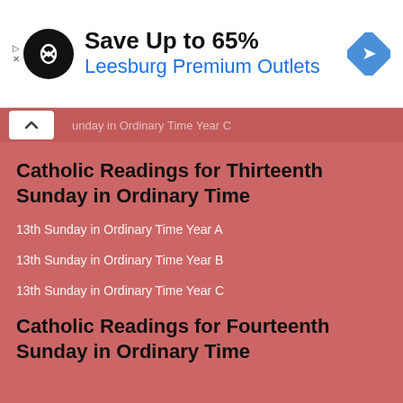[Figure (screenshot): Advertisement banner: Save Up to 65% - Leesburg Premium Outlets, with circular logo and map pin icon]
unday in Ordinary Time Year C
Catholic Readings for Thirteenth Sunday in Ordinary Time
13th Sunday in Ordinary Time Year A
13th Sunday in Ordinary Time Year B
13th Sunday in Ordinary Time Year C
Catholic Readings for Fourteenth Sunday in Ordinary Time